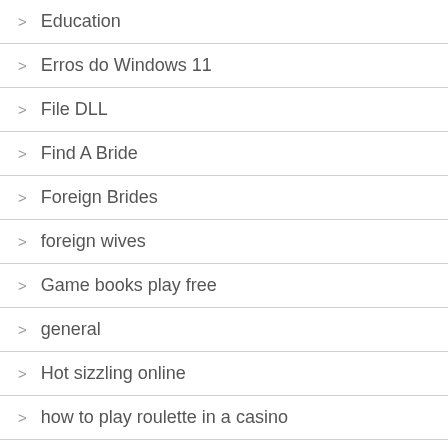Education
Erros do Windows 11
File DLL
Find A Bride
Foreign Brides
foreign wives
Game books play free
general
Hot sizzling online
how to play roulette in a casino